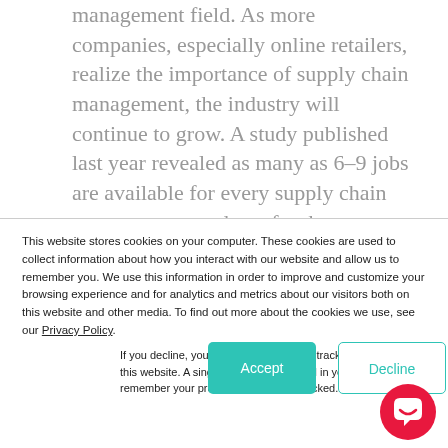management field. As more companies, especially online retailers, realize the importance of supply chain management, the industry will continue to grow. A study published last year revealed as many as 6–9 jobs are available for every supply chain management graduate for the next decade. The future for supply chain management is bright but is
This website stores cookies on your computer. These cookies are used to collect information about how you interact with our website and allow us to remember you. We use this information in order to improve and customize your browsing experience and for analytics and metrics about our visitors both on this website and other media. To find out more about the cookies we use, see our Privacy Policy.
If you decline, your information won't be tracked when you visit this website. A single cookie will be used in your browser to remember your preference not to be tracked.